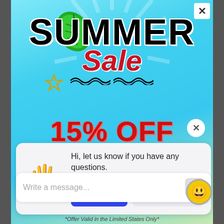[Figure (screenshot): Summer Sale promotional popup modal with teal/sky blue gradient background, tropical leaf, sun rays, star decorations]
SUMMER Sale
15% OFF
Hi, let us know if you have any questions.
Chat now
Just browsing
Write a message...
DAYS  HRS  MIN  SEC
*Offer Valid in the Limited States Only*